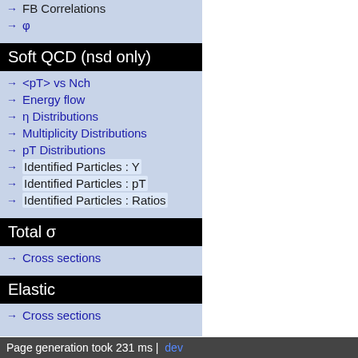→ FB Correlations
→ φ
Soft QCD (nsd only)
→ <pT> vs Nch
→ Energy flow
→ η Distributions
→ Multiplicity Distributions
→ pT Distributions
→ Identified Particles : Y
→ Identified Particles : pT
→ Identified Particles : Ratios
Total σ
→ Cross sections
Elastic
→ Cross sections
Page generation took 231 ms | dev